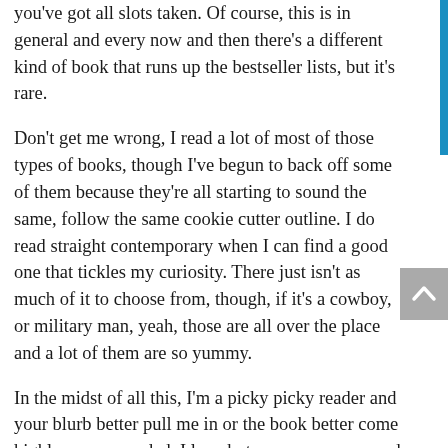you've got all slots taken. Of course, this is in general and every now and then there's a different kind of book that runs up the bestseller lists, but it's rare.
Don't get me wrong, I read a lot of most of those types of books, though I've begun to back off some of them because they're all starting to sound the same, follow the same cookie cutter outline. I do read straight contemporary when I can find a good one that tickles my curiosity. There just isn't as much of it to choose from, though, if it's a cowboy, or military man, yeah, those are all over the place and a lot of them are so yummy.
In the midst of all this, I'm a picky picky reader and your blurb better pull me in or the book better come highly recommended. I love hot yummy covers, and some authors I'll buy right at the moment their book hits the shelves not caring what